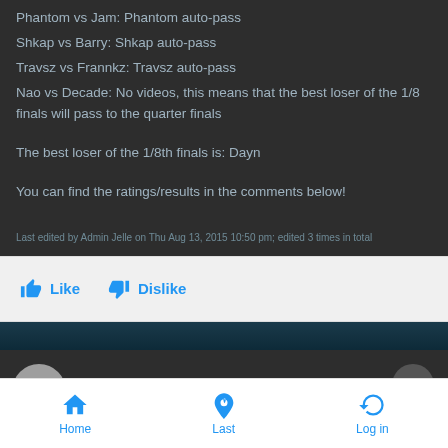Phantom vs Jam: Phantom auto-pass
Shkap vs Barry: Shkap auto-pass
Travsz vs Frannkz: Travsz auto-pass
Nao vs Decade: No videos, this means that the best loser of the 1/8 finals will pass to the quarter finals
The best loser of the 1/8th finals is: Dayn
You can find the ratings/results in the comments below!
Last edited by Admin Jelle on Thu Aug 13, 2015 10:50 pm; edited 3 times in total
Like   Dislike
THU AUG 13, 2015 4:24 AM
Home   Last   Log in